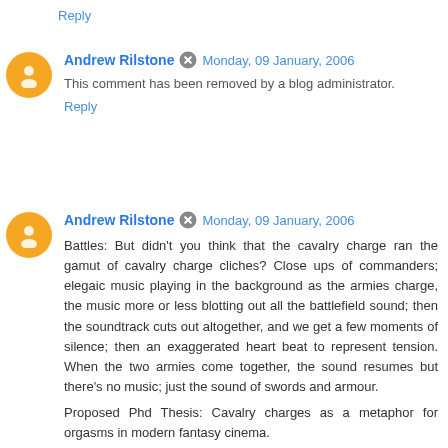Reply
Andrew Rilstone  Monday, 09 January, 2006
This comment has been removed by a blog administrator.
Reply
Andrew Rilstone  Monday, 09 January, 2006
Battles: But didn't you think that the cavalry charge ran the gamut of cavalry charge cliches? Close ups of commanders; elegaic music playing in the background as the armies charge, the music more or less blotting out all the battlefield sound; then the soundtrack cuts out altogether, and we get a few moments of silence; then an exaggerated heart beat to represent tension. When the two armies come together, the sound resumes but there's no music; just the sound of swords and armour.

Proposed Phd Thesis: Cavalry charges as a metaphor for orgasms in modern fantasy cinema.